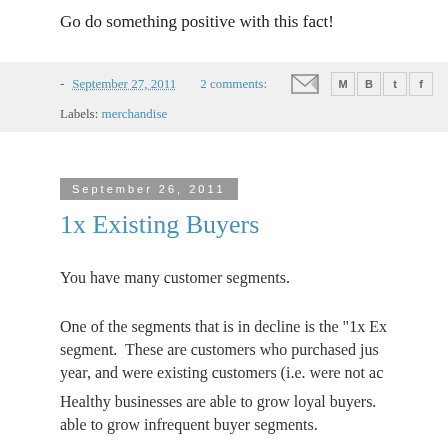Go do something positive with this fact!
- September 27, 2011   2 comments:
Labels: merchandise
September 26, 2011
1x Existing Buyers
You have many customer segments.
One of the segments that is in decline is the "1x Ex segment.  These are customers who purchased jus year, and were existing customers (i.e. were not ac
Healthy businesses are able to grow loyal buyers. able to grow infrequent buyer segments.